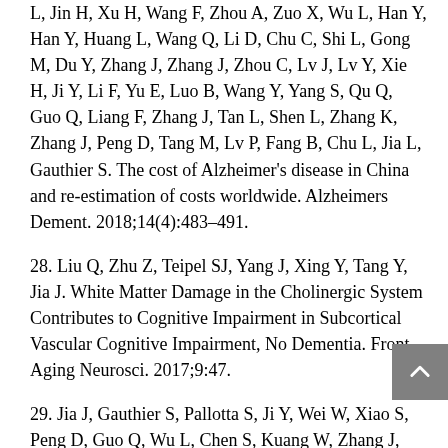L, Jin H, Xu H, Wang F, Zhou A, Zuo X, Wu L, Han Y, Han Y, Huang L, Wang Q, Li D, Chu C, Shi L, Gong M, Du Y, Zhang J, Zhang J, Zhou C, Lv J, Lv Y, Xie H, Ji Y, Li F, Yu E, Luo B, Wang Y, Yang S, Qu Q, Guo Q, Liang F, Zhang J, Tan L, Shen L, Zhang K, Zhang J, Peng D, Tang M, Lv P, Fang B, Chu L, Jia L, Gauthier S. The cost of Alzheimer's disease in China and re-estimation of costs worldwide. Alzheimers Dement. 2018;14(4):483–491.
28. Liu Q, Zhu Z, Teipel SJ, Yang J, Xing Y, Tang Y, Jia J. White Matter Damage in the Cholinergic System Contributes to Cognitive Impairment in Subcortical Vascular Cognitive Impairment, No Dementia. Front Aging Neurosci. 2017;9:47.
29. Jia J, Gauthier S, Pallotta S, Ji Y, Wei W, Xiao S, Peng D, Guo Q, Wu L, Chen S, Kuang W, Zhang J, Wei C, Tang Y. Consensus-based recommendations for the management of rapid